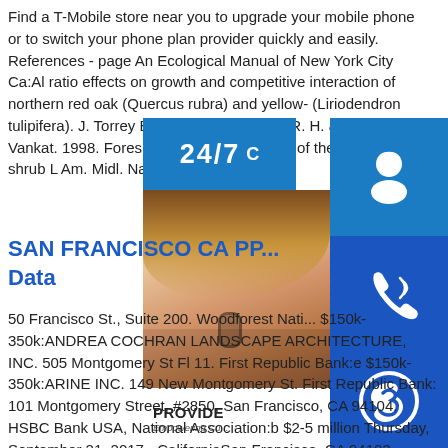Find a T-Mobile store near you to upgrade your mobile phone or to switch your phone plan provider quickly and easily. References - page An Ecological Manual of New York City Ca:Al ratio effects on growth and competitive interactions of northern red oak (Quercus rubra) and yellow-poplar (Liriodendron tulipifera). J. Torrey Bot. Soc. 1... Deering, R. H. and J. L. Vankat. 1998. Forest... developmental growth of the invasive shrub L... Am. Midl. Nat. 141(1):43-50.
[Figure (photo): Customer support graphic with 24/7 badge, headset icon, phone icon, Skype icon, woman with headset photo, PROVIDE Empowering Customers banner, and online live button]
SAN FRANCISCO CA PP... Data
50 Francisco St., Suite 200. Woodforest Nati... $150k-350k:ANDREA COCHRAN LANDSCAPE ARCHITECTURE, INC. 505 Montgomery St Fl 11. First Republic Bank:e $150k-350k:ARINE INC. 149 New Montgomery St. First Republic Bank: 101 Montgomery Street, #2850, San Francisco, CA 94104. HSBC Bank USA, National Association:b $2-5 million Thursday, September 21, 2017 - CaliforniaSan Francisco, CA 94103. Conference Phone